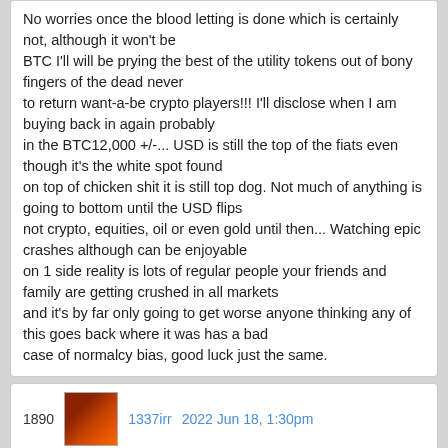No worries once the blood letting is done which is certainly not, although it won't be
BTC I'll will be prying the best of the utility tokens out of bony fingers of the dead never
to return want-a-be crypto players!!! I'll disclose when I am buying back in again probably
in the BTC12,000 +/-... USD is still the top of the fiats even though it's the white spot found
on top of chicken shit it is still top dog. Not much of anything is going to bottom until the USD flips
not crypto, equities, oil or even gold until then... Watching epic crashes although can be enjoyable
on 1 side reality is lots of regular people your friends and family are getting crushed in all markets
and it's by far only going to get worse anyone thinking any of this goes back where it was has a bad
case of normalcy bias, good luck just the same.
1890  1337irr  2022 Jun 18, 1:30pm

Well, we are at at $17,962.70 per a bitcoin. Financial markets are closed on Tuesday.